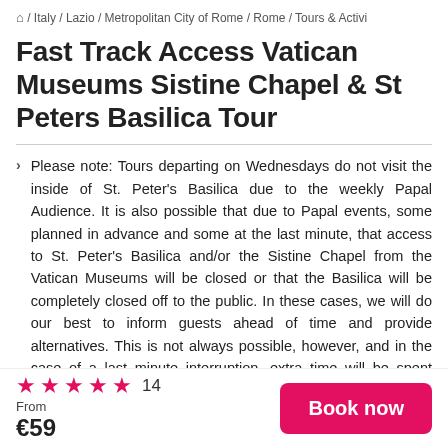🏠 / Italy / Lazio / Metropolitan City of Rome / Rome / Tours & Activi
Fast Track Access Vatican Museums Sistine Chapel & St Peters Basilica Tour
Please note: Tours departing on Wednesdays do not visit the inside of St. Peter's Basilica due to the weekly Papal Audience. It is also possible that due to Papal events, some planned in advance and some at the last minute, that access to St. Peter's Basilica and/or the Sistine Chapel from the Vatican Museums will be closed or that the Basilica will be completely closed off to the public. In these cases, we will do our best to inform guests ahead of time and provide alternatives. This is not always possible, however, and in the case of a last minute interruption, extra time will be spent exploring the Vatican Museums. In such cases, no partial
★★★★★ 14  From €59  Book now